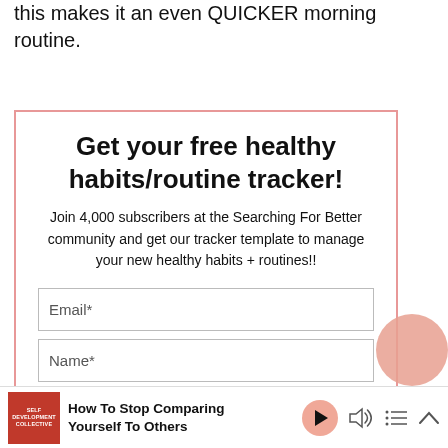this makes it an even QUICKER morning routine.
Get your free healthy habits/routine tracker!
Join 4,000 subscribers at the Searching For Better community and get our tracker template to manage your new healthy habits + routines!!
[Figure (other): Email input field with label 'Email*']
[Figure (other): Name input field with label 'Name*']
How To Stop Comparing Yourself To Others